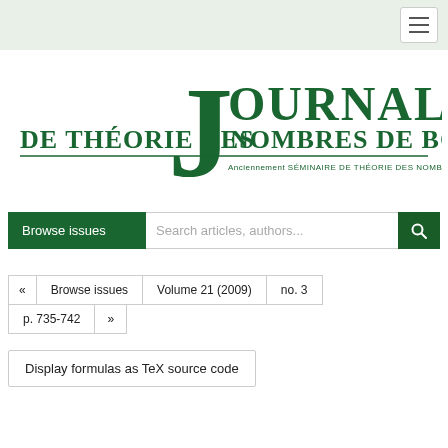Journal de Théorie des Nombres de Bordeaux — navigation header with hamburger menu
[Figure (logo): Journal de Théorie des Nombres de Bordeaux logo — large green J with OURNAL text, DE THÉORIE DES NOMBRES DE BORDEAUX subtitle, Anciennement SÉMINAIRE DE THÉORIE DES NOMBRES DE BORDEAUX tagline]
Browse issues | Search articles, authors...
« | Browse issues | Volume 21 (2009) | no. 3
p. 735-742 | »
Display formulas as TeX source code